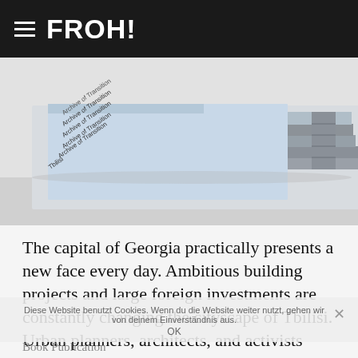FROH!
[Figure (photo): Stack of books titled 'Archive of Transition / Tbilisi' with blue and grey covers, photographed on a white surface]
The capital of Georgia practically presents a new face every day. Ambitious building projects and large foreign investments are constantly changing the cityscape of Tbilisi. Urban planners, architects, and activists recount what the changes mean to them and to life in this remarkable and fascinating city. Here's the final outcome of our long-term project in our favorite country.
Diese Website benutzt Cookies. Wenn du die Website weiter nutzt, gehen wir von deinem Einverständnis aus. OK
Book Publication